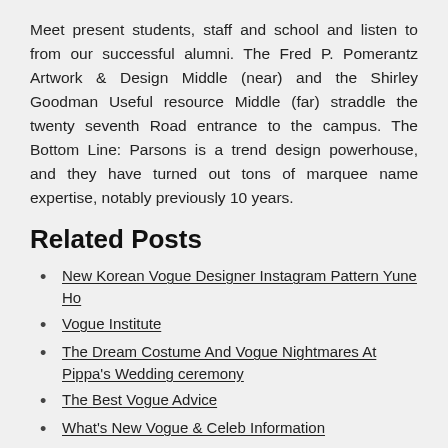Meet present students, staff and school and listen to from our successful alumni. The Fred P. Pomerantz Artwork & Design Middle (near) and the Shirley Goodman Useful resource Middle (far) straddle the twenty seventh Road entrance to the campus. The Bottom Line: Parsons is a trend design powerhouse, and they have turned out tons of marquee name expertise, notably previously 10 years.
Related Posts
New Korean Vogue Designer Instagram Pattern Yune Ho
Vogue Institute
The Dream Costume And Vogue Nightmares At Pippa's Wedding ceremony
The Best Vogue Advice
What's New Vogue & Celeb Information